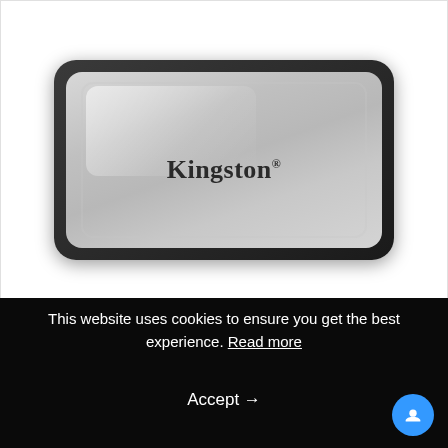[Figure (photo): Kingston XS2000 portable SSD device photographed from above. A rectangular silver/metallic device with rounded corners, black outer casing, and the Kingston brand name printed in serif font in the center.]
This website uses cookies to ensure you get the best experience. Read more
Accept →